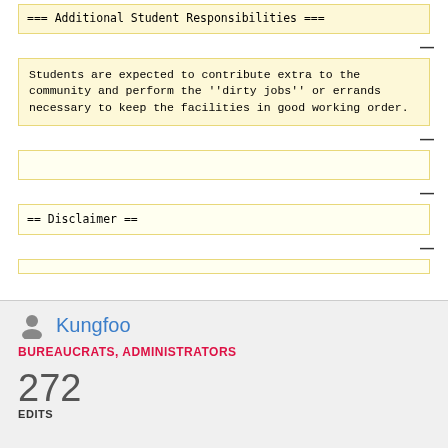=== Additional Student Responsibilities ===
Students are expected to contribute extra to the community and perform the ''dirty jobs'' or errands necessary to keep the facilities in good working order.
== Disclaimer ==
Kungfoo
BUREAUCRATS, ADMINISTRATORS
272 EDITS